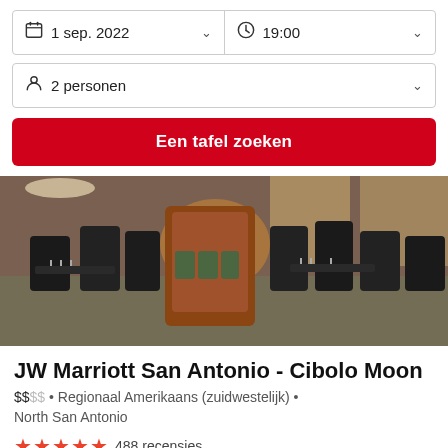1 sep. 2022
19:00
2 personen
Een tafel zoeken
[Figure (photo): Interior of JW Marriott San Antonio Cibolo Moon restaurant showing leather booth seating, dark chairs, set dining tables, and warm lighting with a fireplace in the background.]
JW Marriott San Antonio - Cibolo Moon
$$ßß • Regionaal Amerikaans (zuidwestelijk) • North San Antonio
488 recensies